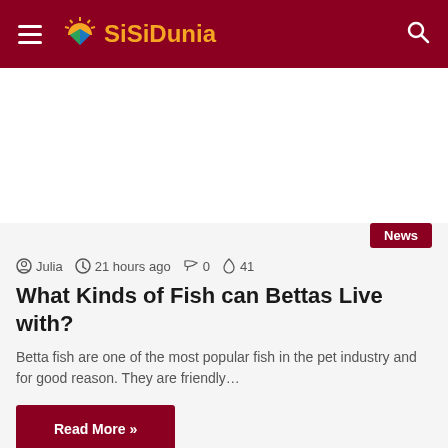SiSiDunia
[Figure (screenshot): Advertisement banner placeholder area]
News
Julia  21 hours ago  0  41
What Kinds of Fish can Bettas Live with?
Betta fish are one of the most popular fish in the pet industry and for good reason. They are friendly…
Read More »